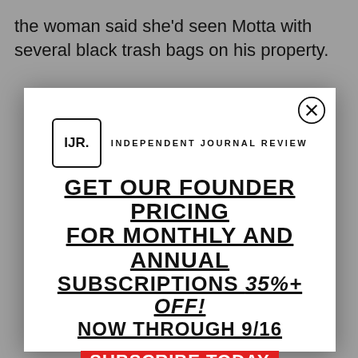the woman said she'd seen Motta with several black trash bags on his property.
[Figure (screenshot): Modal popup overlay with IJR (Independent Journal Review) logo, promotional text 'GET OUR FOUNDER PRICING FOR MONTHLY AND ANNUAL SUBSCRIPTIONS 35%+ OFF! NOW THROUGH 9/16', a red 'SUBSCRIBE TODAY' button, and a close (X) button in the top right corner.]